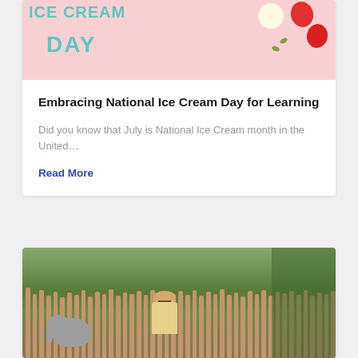[Figure (photo): Ice cream day promotional image with pink background, teal 'ICE CREAM DAY' text, strawberries, pistachios, and ice cream bowl]
Embracing National Ice Cream Day for Learning
Did you know that July is National Ice Cream month in the United…
Read More
[Figure (photo): Child with hat looking at elephant at zoo, with wooden fence posts and green trees in background]